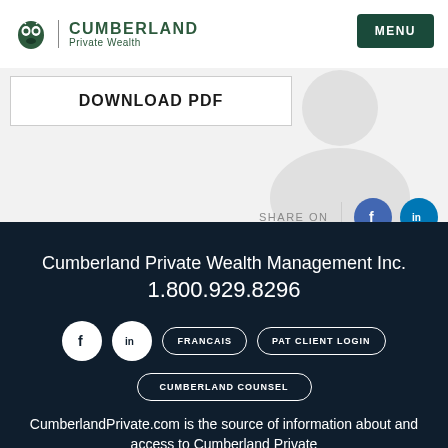CUMBERLAND Private Wealth
MENU
DOWNLOAD PDF
SHARE ON
Cumberland Private Wealth Management Inc. 1.800.929.8296
FRANCAIS
PAT CLIENT LOGIN
CUMBERLAND COUNSEL
CumberlandPrivate.com is the source of information about and access to Cumberland Private Wealth Management and Cumberland Funds.